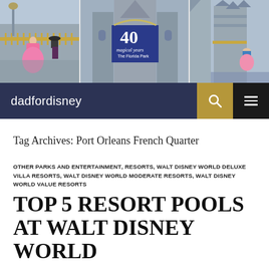[Figure (photo): Collage of three photos showing Disney Magic Kingdom castle with characters. Left panel shows Princess Aurora in pink dress on a balcony with a figure in a black hat. Center panel shows the castle with a large blue '40 Magical Years The Florida Park' banner. Right panel shows castle spires with a character in blue and pink dress.]
dadfordisney
Tag Archives: Port Orleans French Quarter
OTHER PARKS AND ENTERTAINMENT, RESORTS, WALT DISNEY WORLD DELUXE VILLA RESORTS, WALT DISNEY WORLD MODERATE RESORTS, WALT DISNEY WORLD VALUE RESORTS
TOP 5 RESORT POOLS AT WALT DISNEY WORLD